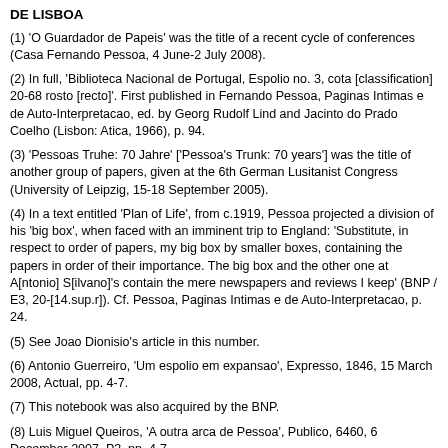DE LISBOA
(1) 'O Guardador de Papeis' was the title of a recent cycle of conferences (Casa Fernando Pessoa, 4 June-2 July 2008).
(2) In full, 'Biblioteca Nacional de Portugal, Espolio no. 3, cota [classification] 20-68 rosto [recto]'. First published in Fernando Pessoa, Paginas Intimas e de Auto-Interpretacao, ed. by Georg Rudolf Lind and Jacinto do Prado Coelho (Lisbon: Atica, 1966), p. 94.
(3) 'Pessoas Truhe: 70 Jahre' ['Pessoa's Trunk: 70 years'] was the title of another group of papers, given at the 6th German Lusitanist Congress (University of Leipzig, 15-18 September 2005).
(4) In a text entitled 'Plan of Life', from c.1919, Pessoa projected a division of his 'big box', when faced with an imminent trip to England: 'Substitute, in respect to order of papers, my big box by smaller boxes, containing the papers in order of their importance. The big box and the other one at A[ntonio] S[ilvano]'s contain the mere newspapers and reviews I keep' (BNP / E3, 20-[14.sup.r]). Cf. Pessoa, Paginas Intimas e de Auto-Interpretacao, p. 24.
(5) See Joao Dionisio's article in this number.
(6) Antonio Guerreiro, 'Um espolio em expansao', Expresso, 1846, 15 March 2008, Actual, pp. 4-7.
(7) This notebook was also acquired by the BNP.
(8) Luis Miguel Queiros, 'A outra arca de Pessoa', Publico, 6460, 6 December 2007, P3, pp. 4-7.